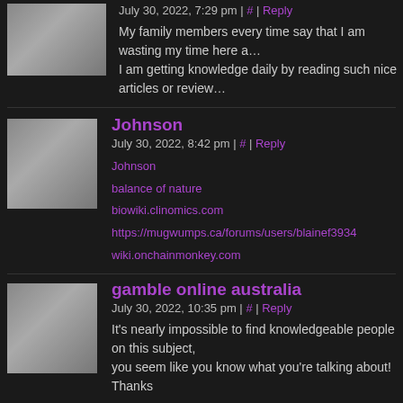July 30, 2022, 7:29 pm | # | Reply
My family members every time say that I am wasting my time here a… I am getting knowledge daily by reading such nice articles or review…
Johnson
July 30, 2022, 8:42 pm | # | Reply
Johnson
balance of nature
biowiki.clinomics.com
https://mugwumps.ca/forums/users/blainef3934
wiki.onchainmonkey.com
gamble online australia
July 30, 2022, 10:35 pm | # | Reply
It's nearly impossible to find knowledgeable people on this subject, you seem like you know what you're talking about! Thanks
makers mop
July 31, 2022, 12:22 am | # | Reply
I visited many websites except the audio feature for audio songs cu…
Dixiepasl